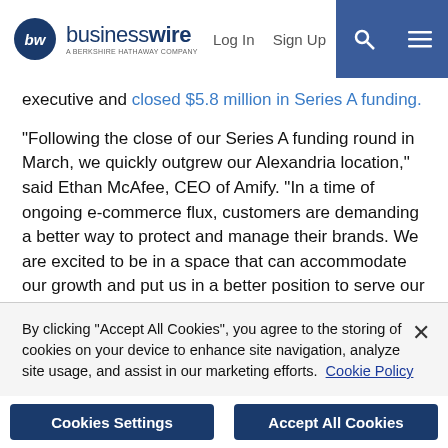businesswire — A BERKSHIRE HATHAWAY COMPANY | Log In | Sign Up
executive and closed $5.8 million in Series A funding.
“Following the close of our Series A funding round in March, we quickly outgrew our Alexandria location,” said Ethan McAfee, CEO of Amify. “In a time of ongoing e-commerce flux, customers are demanding a better way to protect and manage their brands. We are excited to be in a space that can accommodate our growth and put us in a better position to serve our customers.”
Amify, is an Inc. 500 award winner whose turnkey solution allows major brands to maximize their potential selling on the Amazon marketplace. Using an end-to-end strategy, Amify has partnered
By clicking “Accept All Cookies”, you agree to the storing of cookies on your device to enhance site navigation, analyze site usage, and assist in our marketing efforts. Cookie Policy
Cookies Settings | Accept All Cookies